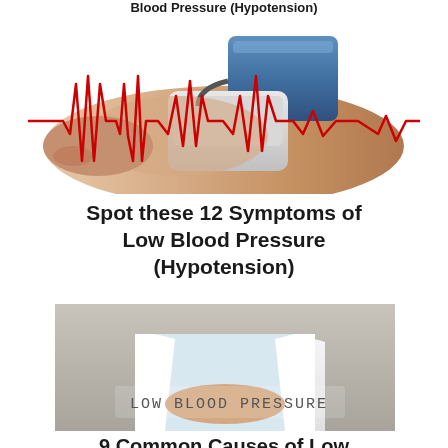Blood Pressure (Hypotension)
[Figure (photo): A blood pressure cuff on an arm with a red ECG heartbeat line overlaid on top]
Spot these 12 Symptoms of Low Blood Pressure (Hypotension)
[Figure (photo): A doctor in a white coat with stethoscope holding up a sign that reads LOW BLOOD PRESSURE]
9 Common Causes of Low